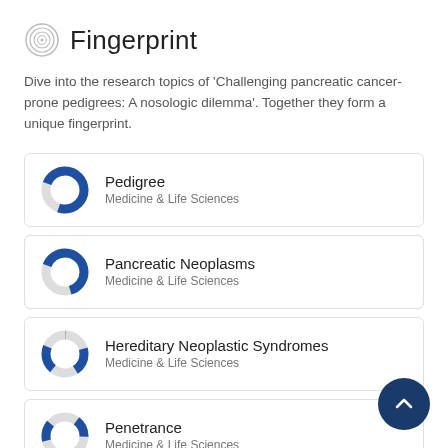Fingerprint
Dive into the research topics of 'Challenging pancreatic cancer-prone pedigrees: A nosologic dilemma'. Together they form a unique fingerprint.
[Figure (donut-chart): Donut chart for Pedigree, mostly filled blue (~75%), Medicine & Life Sciences]
Pedigree
Medicine & Life Sciences
[Figure (donut-chart): Donut chart for Pancreatic Neoplasms, mostly filled blue (~65%), Medicine & Life Sciences]
Pancreatic Neoplasms
Medicine & Life Sciences
[Figure (donut-chart): Donut chart for Hereditary Neoplastic Syndromes, small blue arc (~20%), Medicine & Life Sciences]
Hereditary Neoplastic Syndromes
Medicine & Life Sciences
[Figure (donut-chart): Donut chart for Penetrance, small blue arc (~15%), Medicine & Life Sciences]
Penetrance
Medicine & Life Sciences